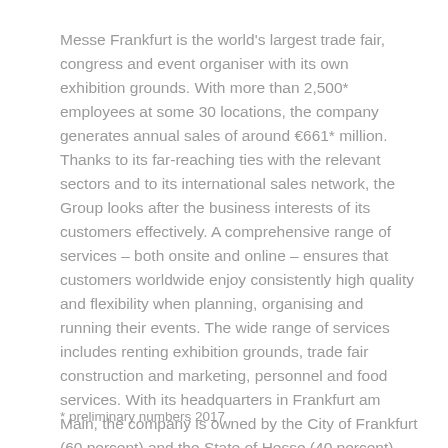Messe Frankfurt is the world's largest trade fair, congress and event organiser with its own exhibition grounds. With more than 2,500* employees at some 30 locations, the company generates annual sales of around €661* million. Thanks to its far-reaching ties with the relevant sectors and to its international sales network, the Group looks after the business interests of its customers effectively. A comprehensive range of services – both onsite and online – ensures that customers worldwide enjoy consistently high quality and flexibility when planning, organising and running their events. The wide range of services includes renting exhibition grounds, trade fair construction and marketing, personnel and food services. With its headquarters in Frankfurt am Main, the company is owned by the City of Frankfurt (60 percent) and the State of Hesse (40 percent).
* preliminary numbers 2017